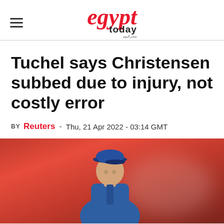egypt today
Tuchel says Christensen subbed due to injury, not costly error
BY Reuters - Thu, 21 Apr 2022 - 03:14 GMT
[Figure (photo): Photo of Thomas Tuchel wearing a blue cap and blue jacket, with a red background]